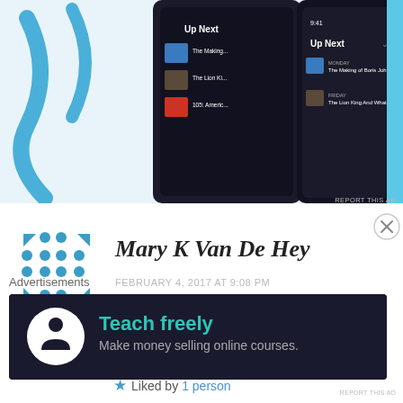[Figure (screenshot): App screenshot showing 'Up Next' podcast queue interface on a dark mobile UI, partially cropped at top of page]
REPORT THIS AD
[Figure (logo): Blue dotted grid avatar icon for Mary K Van De Hey]
Mary K Van De Hey
FEBRUARY 4, 2017 AT 9:08 PM
So very nice to read you again. Sharing the smile with you.
★ Liked by 1 person
Advertisements
[Figure (infographic): Dark advertisement banner: circular white icon with person silhouette, teal text 'Teach freely', gray subtext 'Make money selling online courses.']